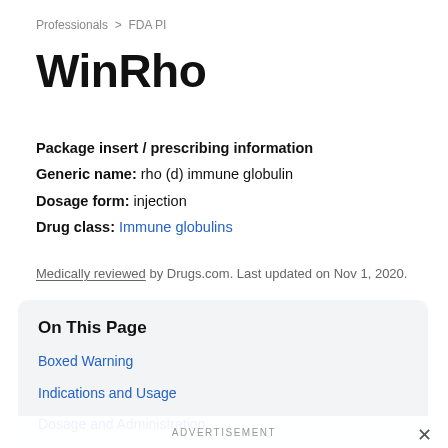Professionals > FDA PI
WinRho
Package insert / prescribing information
Generic name: rho (d) immune globulin
Dosage form: injection
Drug class: Immune globulins
Medically reviewed by Drugs.com. Last updated on Nov 1, 2020.
On This Page
Boxed Warning
Indications and Usage
Dosage and Administration
ADVERTISEMENT